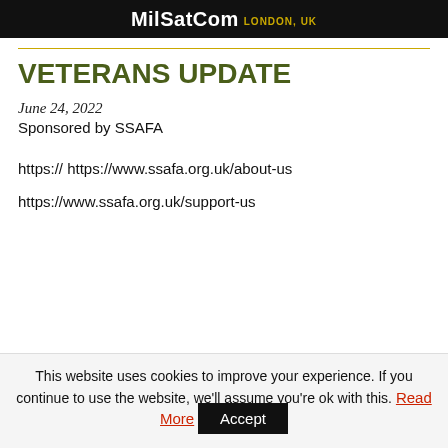[Figure (logo): MilSatCom London, UK banner advertisement with dark background and bold white/gold text]
VETERANS UPDATE
June 24, 2022
Sponsored by SSAFA
https:// https://www.ssafa.org.uk/about-us
https://www.ssafa.org.uk/support-us
This website uses cookies to improve your experience. If you continue to use the website, we'll assume you're ok with this. Read More Accept